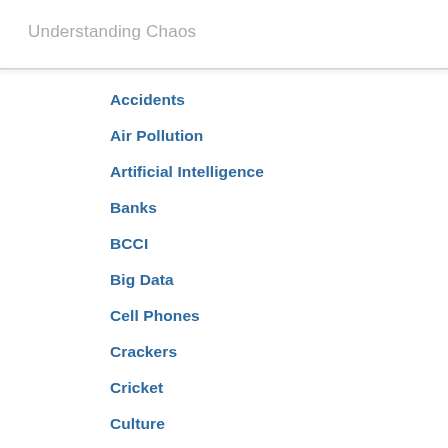Understanding Chaos
Accidents
Air Pollution
Artificial Intelligence
Banks
BCCI
Big Data
Cell Phones
Crackers
Cricket
Culture